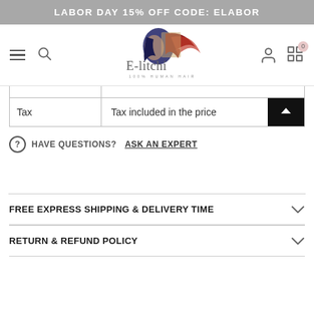LABOR DAY 15% OFF CODE: ELABOR
[Figure (logo): E-litchi 100% Human Hair brand logo with stylized woman silhouette in navy blue and red]
| Tax | Tax included in the price |
HAVE QUESTIONS? ASK AN EXPERT
FREE EXPRESS SHIPPING & DELIVERY TIME
RETURN & REFUND POLICY